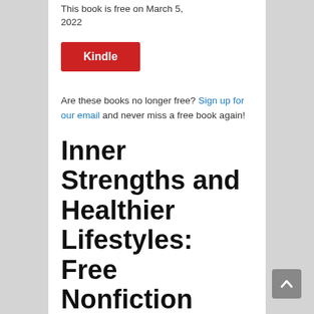This book is free on March 5, 2022
[Figure (other): Red Kindle button]
Are these books no longer free? Sign up for our email and never miss a free book again!
Inner Strengths and Healthier Lifestyles: Free Nonfiction